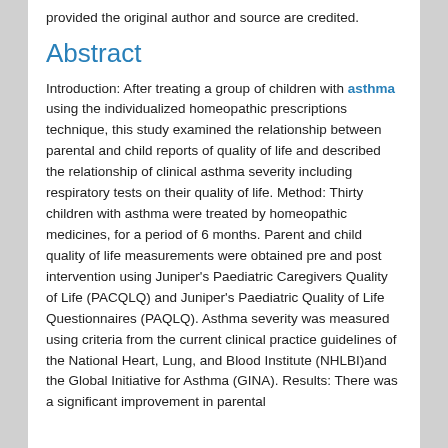provided the original author and source are credited.
Abstract
Introduction: After treating a group of children with asthma using the individualized homeopathic prescriptions technique, this study examined the relationship between parental and child reports of quality of life and described the relationship of clinical asthma severity including respiratory tests on their quality of life. Method: Thirty children with asthma were treated by homeopathic medicines, for a period of 6 months. Parent and child quality of life measurements were obtained pre and post intervention using Juniper's Paediatric Caregivers Quality of Life (PACQLQ) and Juniper's Paediatric Quality of Life Questionnaires (PAQLQ). Asthma severity was measured using criteria from the current clinical practice guidelines of the National Heart, Lung, and Blood Institute (NHLBI)and the Global Initiative for Asthma (GINA). Results: There was a significant improvement in parental